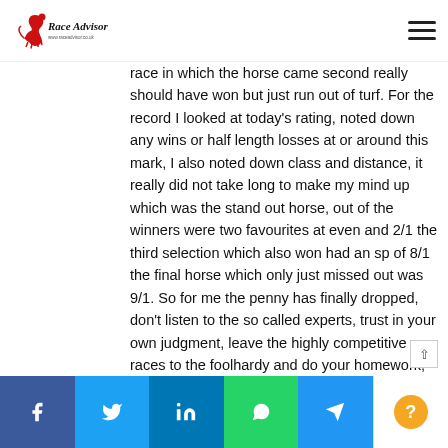Race Advisor — www.raceadvisor.co.uk
race in which the horse came second really should have won but just run out of turf. For the record I looked at today's rating, noted down any wins or half length losses at or around this mark, I also noted down class and distance, it really did not take long to make my mind up which was the stand out horse, out of the winners were two favourites at even and 2/1 the third selection which also won had an sp of 8/1 the final horse which only just missed out was 9/1. So for me the penny has finally dropped, don't listen to the so called experts, trust in your own judgment, leave the highly competitive races to the foolhardy and do your homework, there are many strategies that could have been used today not just straight betting, trading in play
Facebook Twitter LinkedIn WhatsApp Telegram Help